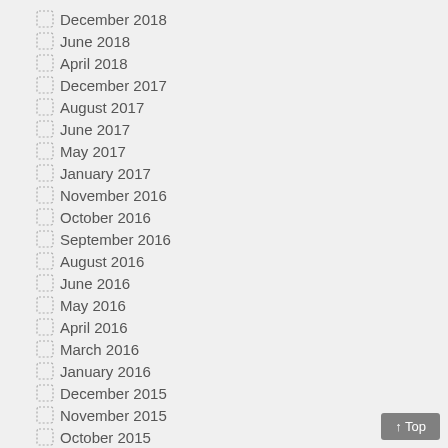December 2018
June 2018
April 2018
December 2017
August 2017
June 2017
May 2017
January 2017
November 2016
October 2016
September 2016
August 2016
June 2016
May 2016
April 2016
March 2016
January 2016
December 2015
November 2015
October 2015
September 2015
August 2015